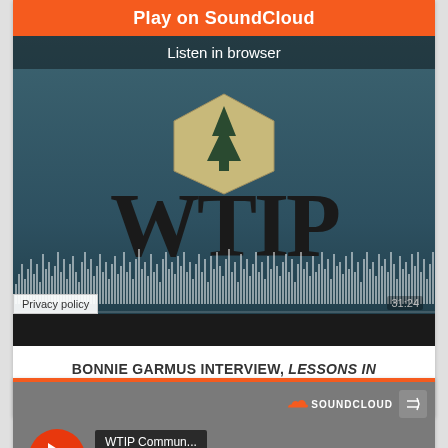[Figure (screenshot): SoundCloud embedded player widget showing WTIP radio station podcast episode. Top orange bar reads 'Play on SoundCloud'. Below is a dark teal artwork area with WTIP logo (pentagon badge with tree icon and large WTIP lettering) and audio waveform visualization. Duration shows 31:24. Bottom has a 'Privacy policy' badge. Title reads 'BONNIE GARMUS INTERVIEW, LESSONS IN CHEMISTRY'.]
BONNIE GARMUS INTERVIEW, LESSONS IN CHEMISTRY
[Figure (screenshot): Second SoundCloud embedded player showing WTIP Community Radio. Orange stripe at top, dark blurred background with large faint text. Red circular play button on left. Dark label buttons showing 'WTIP Commun...' and 'Superior R...' Center. SoundCloud logo top right with share icon.]